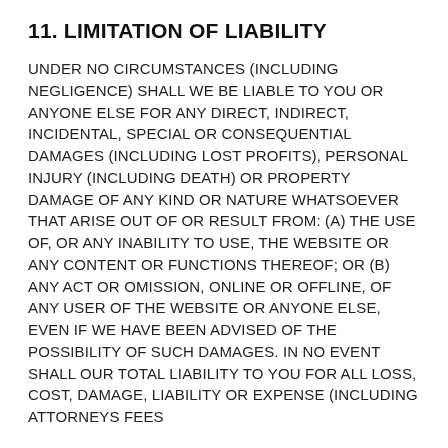11. LIMITATION OF LIABILITY
UNDER NO CIRCUMSTANCES (INCLUDING NEGLIGENCE) SHALL WE BE LIABLE TO YOU OR ANYONE ELSE FOR ANY DIRECT, INDIRECT, INCIDENTAL, SPECIAL OR CONSEQUENTIAL DAMAGES (INCLUDING LOST PROFITS), PERSONAL INJURY (INCLUDING DEATH) OR PROPERTY DAMAGE OF ANY KIND OR NATURE WHATSOEVER THAT ARISE OUT OF OR RESULT FROM: (A) THE USE OF, OR ANY INABILITY TO USE, THE WEBSITE OR ANY CONTENT OR FUNCTIONS THEREOF; OR (B) ANY ACT OR OMISSION, ONLINE OR OFFLINE, OF ANY USER OF THE WEBSITE OR ANYONE ELSE, EVEN IF WE HAVE BEEN ADVISED OF THE POSSIBILITY OF SUCH DAMAGES. IN NO EVENT SHALL OUR TOTAL LIABILITY TO YOU FOR ALL LOSS, COST, DAMAGE, LIABILITY OR EXPENSE (INCLUDING ATTORNEYS FEES